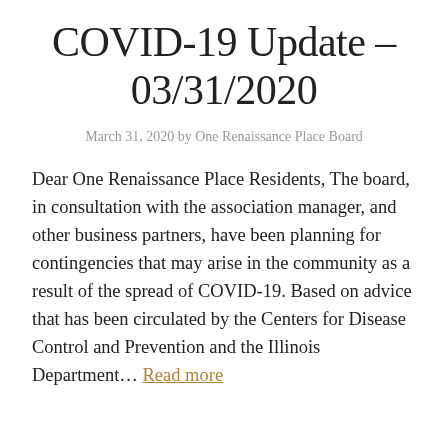COVID-19 Update – 03/31/2020
March 31, 2020 by One Renaissance Place Board
Dear One Renaissance Place Residents, The board, in consultation with the association manager, and other business partners, have been planning for contingencies that may arise in the community as a result of the spread of COVID-19. Based on advice that has been circulated by the Centers for Disease Control and Prevention and the Illinois Department… Read more